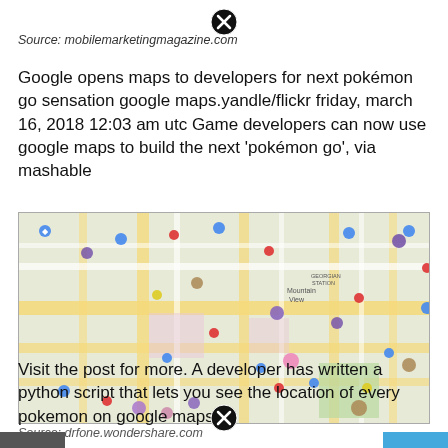Source: mobilemarketingmagazine.com
Google opens maps to developers for next pokémon go sensation google maps.yandle/flickr friday, march 16, 2018 12:03 am utc Game developers can now use google maps to build the next 'pokémon go', via mashable
[Figure (map): Google Maps screenshot showing a city street map with various Pokémon character icons scattered across the streets and intersections, showing Mountain View area.]
Source: drfone.wondershare.com
Visit the post for more. A developer has written a python script that lets you see the location of every pokemon on google maps.